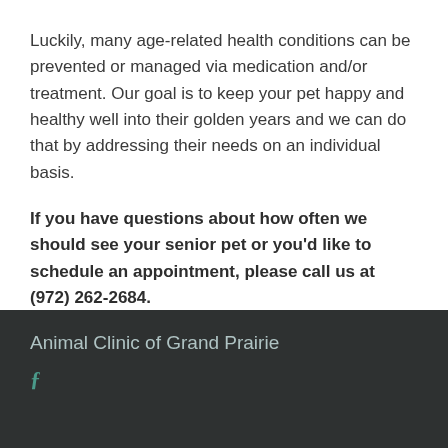Luckily, many age-related health conditions can be prevented or managed via medication and/or treatment. Our goal is to keep your pet happy and healthy well into their golden years and we can do that by addressing their needs on an individual basis.
If you have questions about how often we should see your senior pet or you'd like to schedule an appointment, please call us at (972) 262-2684.
Animal Clinic of Grand Prairie